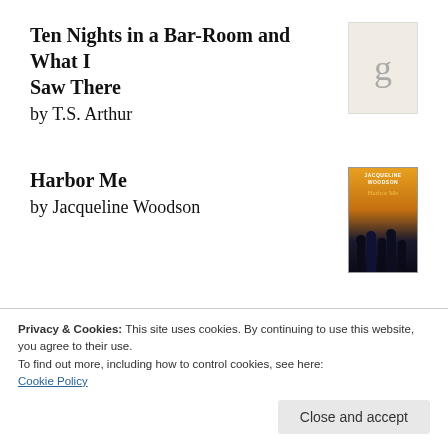Ten Nights in a Bar-Room and What I Saw There
by T.S. Arthur
[Figure (illustration): Goodreads placeholder book cover with 'g' letter on beige background]
Harbor Me
by Jacqueline Woodson
[Figure (illustration): Harbor Me book cover with orange sky and silhouetted figures]
Black Baptists and African Missions: The Origins of a Movement 1880–1915
by Sandy Dwayne Martin
[Figure (illustration): Black Baptists and African Missions book cover with globe image]
Privacy & Cookies: This site uses cookies. By continuing to use this website, you agree to their use.
To find out more, including how to control cookies, see here:
Cookie Policy
Close and accept